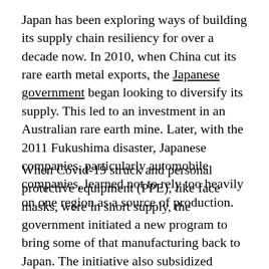Japan has been exploring ways of building its supply chain resiliency for over a decade now. In 2010, when China cut its rare earth metal exports, the Japanese government began looking to diversify its supply. This led to an investment in an Australian rare earth mine. Later, with the 2011 Fukushima disaster, Japanese companies, particularly automobile companies, learned not to rely too heavily on one region as a source of production.
When Covid-19 struck and personal protective equipment (PPE), like face masks, were in short supply, the government initiated a new program to bring some of that manufacturing back to Japan. The initiative also subsidized companies moving out of China and has been called Japan's “exit strategy.” Ten